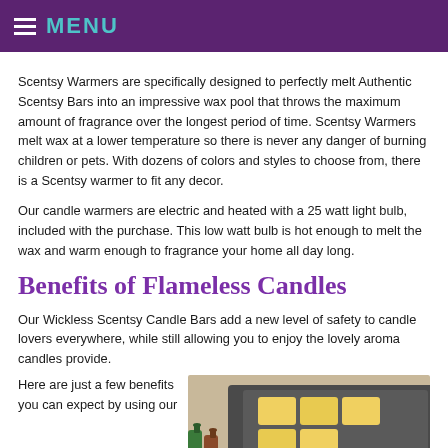MENU
Scentsy Warmers are specifically designed to perfectly melt Authentic Scentsy Bars into an impressive wax pool that throws the maximum amount of fragrance over the longest period of time. Scentsy Warmers melt wax at a lower temperature so there is never any danger of burning children or pets. With dozens of colors and styles to choose from, there is a Scentsy warmer to fit any decor.
Our candle warmers are electric and heated with a 25 watt light bulb, included with the purchase. This low watt bulb is hot enough to melt the wax and warm enough to fragrance your home all day long.
Benefits of Flameless Candles
Our Wickless Scentsy Candle Bars add a new level of safety to candle lovers everywhere, while still allowing you to enjoy the lovely aroma candles provide.
Here are just a few benefits you can expect by using our
[Figure (photo): Photo of a dark grey Scentsy candle warmer dish with yellow wax cubes/bars, and colorful small bottles in the foreground on the left side.]